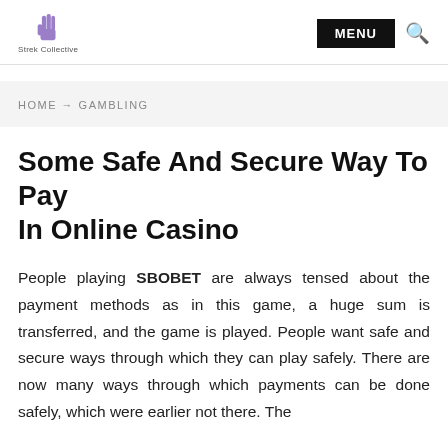Strek Collective — MENU
HOME → GAMBLING
Some Safe And Secure Way To Pay In Online Casino
People playing SBOBET are always tensed about the payment methods as in this game, a huge sum is transferred, and the game is played. People want safe and secure ways through which they can play safely. There are now many ways through which payments can be done safely, which were earlier not there. The